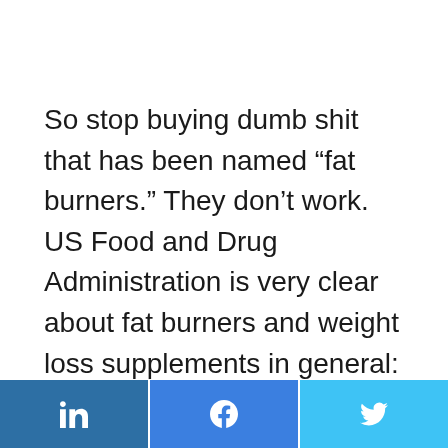So stop buying dumb shit that has been named “fat burners.” They don’t work. US Food and Drug Administration is very clear about fat burners and weight loss supplements in general:
[Figure (infographic): Social media share buttons: LinkedIn (dark blue), Facebook (blue), Twitter (light blue)]